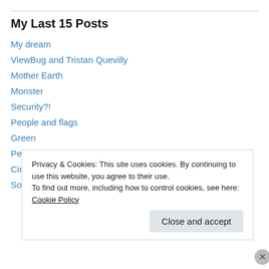My Last 15 Posts
My dream
ViewBug and Tristan Quevilly
Mother Earth
Monster
Security?!
People and flags
Green
Peace
Circles
Somebody was watching me
Privacy & Cookies: This site uses cookies. By continuing to use this website, you agree to their use.
To find out more, including how to control cookies, see here: Cookie Policy
Close and accept